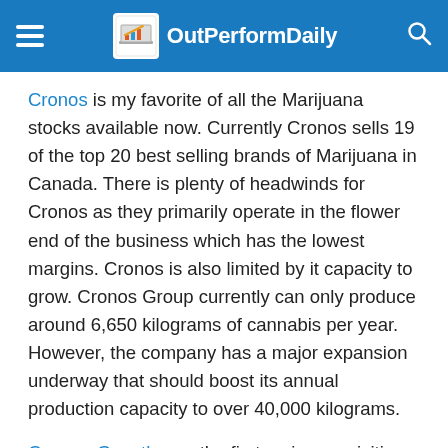OutPerformDaily
Cronos is my favorite of all the Marijuana stocks available now. Currently Cronos sells 19 of the top 20 best selling brands of Marijuana in Canada. There is plenty of headwinds for Cronos as they primarily operate in the flower end of the business which has the lowest margins. Cronos is also limited by it capacity to grow. Cronos Group currently can only produce around 6,650 kilograms of cannabis per year. However, the company has a major expansion underway that should boost its annual production capacity to over 40,000 kilograms.
Canopy Growth was the first major acquisition in the Marijuana space. Canopy recently reported a 282% increase in retail sales as Canada made Marijuana legal. Recently Canopy had a accounting